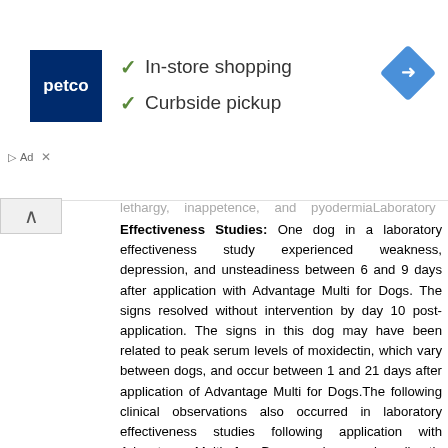[Figure (logo): Petco advertisement banner with Petco logo, checkmarks for 'In-store shopping' and 'Curbside pickup', and a blue navigation/directions diamond icon]
lethargy, inappetence, and pyodermia Laboratory Effectiveness Studies: One dog in a laboratory effectiveness study experienced weakness, depression, and unsteadiness between 6 and 9 days after application with Advantage Multi for Dogs. The signs resolved without intervention by day 10 post-application. The signs in this dog may have been related to peak serum levels of moxidectin, which vary between dogs, and occur between 1 and 21 days after application of Advantage Multi for Dogs.The following clinical observations also occurred in laboratory effectiveness studies following application with Advantage Multi for Dogs and may be directly attributed to the drug or may be secondary to the intestinal parasite burden or other underlying conditions in the dogs: diarrhea, bloody stools, vomiting, anorexia, lethargy, coughing, ocular discharge and nasal discharge. Observations at the application sites